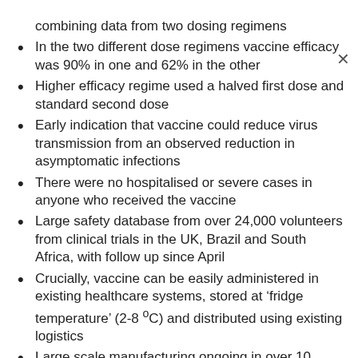combining data from two dosing regimens
In the two different dose regimens vaccine efficacy was 90% in one and 62% in the other
Higher efficacy regime used a halved first dose and standard second dose
Early indication that vaccine could reduce virus transmission from an observed reduction in asymptomatic infections
There were no hospitalised or severe cases in anyone who received the vaccine
Large safety database from over 24,000 volunteers from clinical trials in the UK, Brazil and South Africa, with follow up since April
Crucially, vaccine can be easily administered in existing healthcare systems, stored at ‘fridge temperature’ (2-8 °C) and distributed using existing logistics
Large scale manufacturing ongoing in over 10 countries